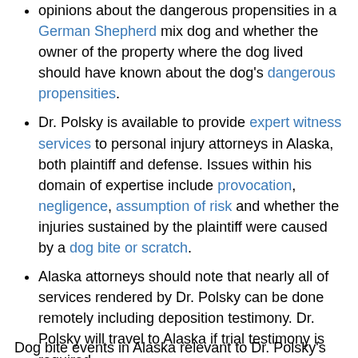opinions about the dangerous propensities in a German Shepherd mix dog and whether the owner of the property where the dog lived should have known about the dog's dangerous propensities.
Dr. Polsky is available to provide expert witness services to personal injury attorneys in Alaska, both plaintiff and defense. Issues within his domain of expertise include provocation, negligence, assumption of risk and whether the injuries sustained by the plaintiff were caused by a dog bite or scratch.
Alaska attorneys should note that nearly all of services rendered by Dr. Polsky can be done remotely including deposition testimony. Dr. Polsky will travel to Alaska if trial testimony is required.
Dog bite events in Alaska relevant to Dr. Polsky's